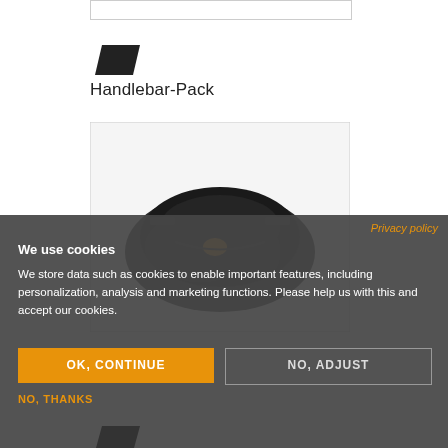[Figure (other): Top border/image placeholder box (partial, cut off at top)]
[Figure (logo): Black parallelogram logo mark]
Handlebar-Pack
[Figure (photo): Product photo of a black handlebar pack/bag with orange zipper details, partially overlaid by cookie consent banner]
Privacy policy
We use cookies
We store data such as cookies to enable important features, including personalization, analysis and marketing functions. Please help us with this and accept our cookies.
OK, CONTINUE
NO, ADJUST
NO, THANKS
[Figure (logo): Partial black parallelogram logo mark at bottom, cut off]